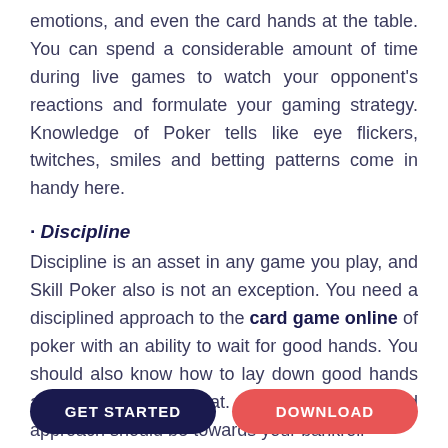emotions, and even the card hands at the table. You can spend a considerable amount of time during live games to watch your opponent's reactions and formulate your gaming strategy. Knowledge of Poker tells like eye flickers, twitches, smiles and betting patterns come in handy here.
· Discipline
Discipline is an asset in any game you play, and Skill Poker also is not an exception. You need a disciplined approach to the card game online of poker with an ability to wait for good hands. You should also know how to lay down good hands and know the beat. Another disciplined approach should be towards your bankroll
GET STARTED
DOWNLOAD